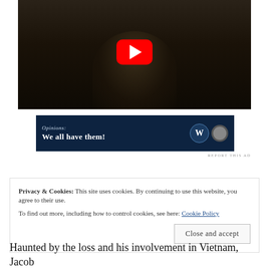[Figure (screenshot): YouTube video thumbnail showing a dark-haired person wearing glasses, with a red YouTube play button overlay in the center]
[Figure (screenshot): Advertisement banner with dark navy background reading 'Opinions: We all have them!' with logos on the right]
REPORT THIS AD
Privacy & Cookies: This site uses cookies. By continuing to use this website, you agree to their use.
To find out more, including how to control cookies, see here: Cookie Policy
Close and accept
Haunted by the loss and his involvement in Vietnam, Jacob